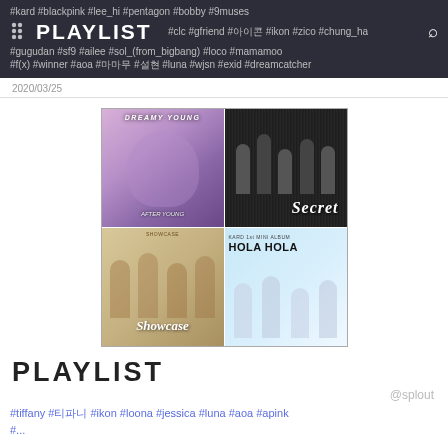#kard #blackpink #lee_hi #pentagon #bobby #9muses PLAYLIST #clc #gfriend #아이콘 #ikon #zico #chung_ha #gugudan #sf9 #ailee #sol_(from_bigbang) #loco #mamamoo #f(x) #winner #aoa #마마무 #설현 #luna #wjsn #exid #dreamcatcher
2020/03/25
[Figure (illustration): 2x2 grid of K-pop album covers: top-left (dreamy/purple female solo), top-right (black and white group photo labelled Secret), bottom-left (group in gold tones labelled Showcase), bottom-right (HOLA HOLA album cover with group in white)]
PLAYLIST
@splout
#tiffany #티파니 #ikon #loona #jessica #luna #aoa #apink #...